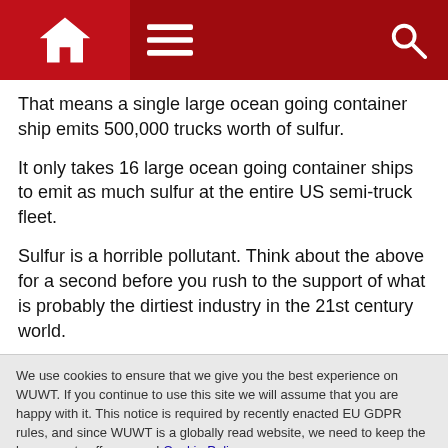Navigation bar with home, menu, and search icons
That means a single large ocean going container ship emits 500,000 trucks worth of sulfur.
It only takes 16 large ocean going container ships to emit as much sulfur at the entire US semi-truck fleet.
Sulfur is a horrible pollutant. Think about the above for a second before you rush to the support of what is probably the dirtiest industry in the 21st century world.
The Trump admin just made a last minute appeal to the IMO to get the schedule delayed. The IMO said, no way.
We use cookies to ensure that we give you the best experience on WUWT. If you continue to use this site we will assume that you are happy with it. This notice is required by recently enacted EU GDPR rules, and since WUWT is a globally read website, we need to keep the bureaucrats off our case! Cookie Policy
biological cocktail . It's in the oil because it's part of the cycle of